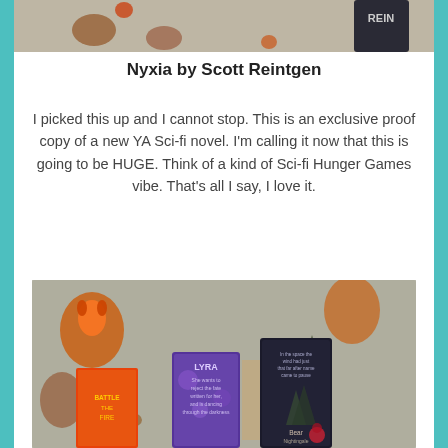[Figure (photo): Cropped top portion of a book photo on a patterned fabric with animal prints, showing the spine of a book with 'REIN' visible.]
Nyxia by Scott Reintgen
I picked this up and I cannot stop. This is an exclusive proof copy of a new YA Sci-fi novel. I'm calling it now that this is going to be HUGE. Think of a kind of Sci-fi Hunger Games vibe. That's all I say, I love it.
[Figure (photo): Photo of several bookmarks and a book laid out on a patterned fabric with foxes and woodland creatures. Visible items include a purple bookmark labeled 'LYRA', a dark bookmark labeled 'Bear and the Nightingale', and a red/orange book.]